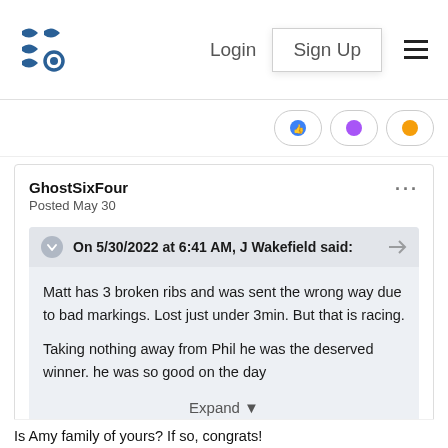Login  Sign Up
GhostSixFour
Posted May 30
On 5/30/2022 at 6:41 AM, J Wakefield said:
Matt has 3 broken ribs and was sent the wrong way due to bad markings. Lost just under 3min. But that is racing.

Taking nothing away from Phil he was the deserved winner. he was so good on the day
Expand
Is Amy family of yours? If so, congrats!